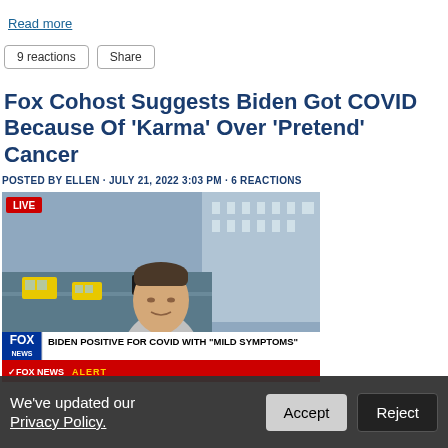Read more
9 reactions  Share
Fox Cohost Suggests Biden Got COVID Because Of 'Karma' Over 'Pretend' Cancer
POSTED BY ELLEN · JULY 21, 2022 3:03 PM · 6 REACTIONS
[Figure (photo): Fox News TV screenshot showing a male anchor in grey suit with blue tie in front of a city street background. A LIVE badge is in the top left. Lower thirds show: FOX NEWS logo, headline 'BIDEN POSITIVE FOR COVID WITH "MILD SYMPTOMS"', and a FOX NEWS ALERT banner.]
We've updated our Privacy Policy.  Accept  Reject